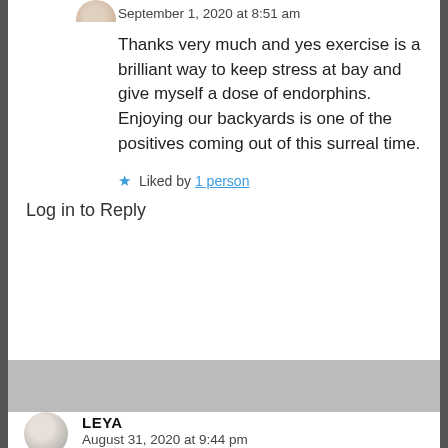September 1, 2020 at 8:51 am
Thanks very much and yes exercise is a brilliant way to keep stress at bay and give myself a dose of endorphins. Enjoying our backyards is one of the positives coming out of this surreal time.
★ Liked by 1 person
Log in to Reply
LEYA
August 31, 2020 at 9:44 pm
Lovely gallery, and beautiful rainbows! Biking must be great in such lovely environment.